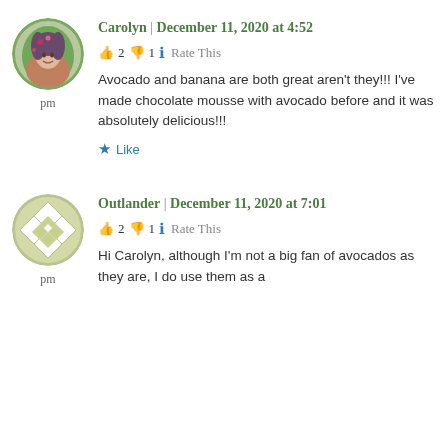[Figure (photo): Circular avatar photo of Carolyn, a woman with decorated hair, outdoors]
Carolyn | December 11, 2020 at 4:52 pm
👍 2 👎 1 ℹ Rate This
Avocado and banana are both great aren't they!!! I've made chocolate mousse with avocado before and it was absolutely delicious!!!
★ Like
[Figure (illustration): Circular geometric pattern avatar for Outlander, olive/cream diamond pattern]
Outlander | December 11, 2020 at 7:01 pm
👍 2 👎 1 ℹ Rate This
Hi Carolyn, although I'm not a big fan of avocados as they are, I do use them as a